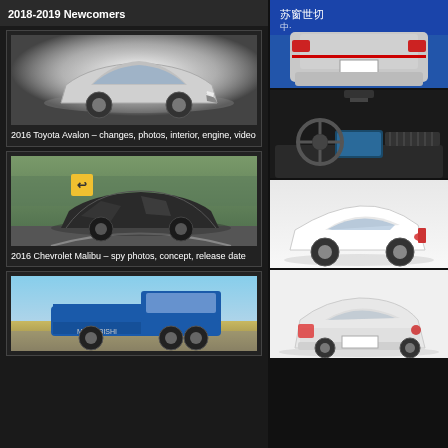2018-2019 Newcomers
[Figure (photo): 2016 Toyota Avalon silver sedan studio photo]
2016 Toyota Avalon – changes, photos, interior, engine, video
[Figure (photo): 2016 Chevrolet Malibu spy photo on road]
2016 Chevrolet Malibu – spy photos, concept, release date
[Figure (photo): Blue Mitsubishi pickup truck on dirt road]
[Figure (photo): Blue Toyota Corolla rear view with Chinese text]
[Figure (photo): Toyota Corolla interior dashboard overhead view]
[Figure (photo): White Toyota hatchback side view]
[Figure (photo): White Toyota Corolla sedan rear three-quarter view]